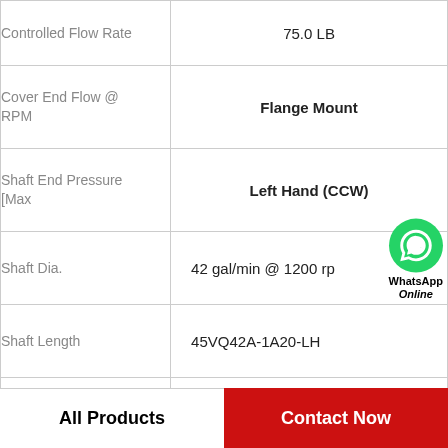| Property | Value |
| --- | --- |
| Controlled Flow Rate | 75.0 LB |
| Cover End Flow @ RPM | Flange Mount |
| Shaft End Pressure [Max | Left Hand (CCW) |
| Shaft Dia. | 42 gal/min @ 1200 rpm |
| Shaft Length | 45VQ42A-1A20-LH |
| Max. RPM [Max | 3 |
| GPM @ 1,800 rpm, Cover End | Flange |
All Products
Contact Now